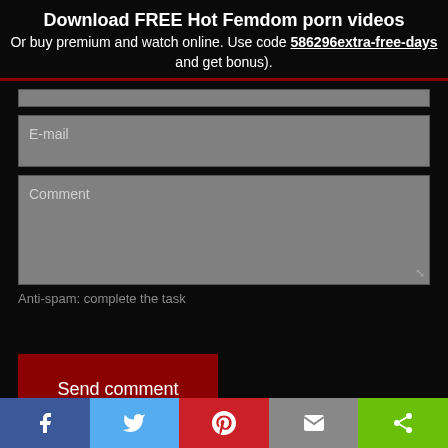Download FREE Hot Femdom porn videos
Or buy premium and watch online. Use code 586296extra-free-days and get bonus).
E-mail
Comment
Anti-spam: complete the task
Send comment